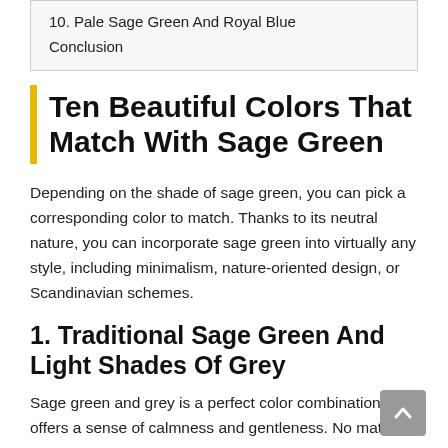10. Pale Sage Green And Royal Blue
Conclusion
Ten Beautiful Colors That Match With Sage Green
Depending on the shade of sage green, you can pick a corresponding color to match. Thanks to its neutral nature, you can incorporate sage green into virtually any style, including minimalism, nature-oriented design, or Scandinavian schemes.
1. Traditional Sage Green And Light Shades Of Grey
Sage green and grey is a perfect color combination that offers a sense of calmness and gentleness. No matter